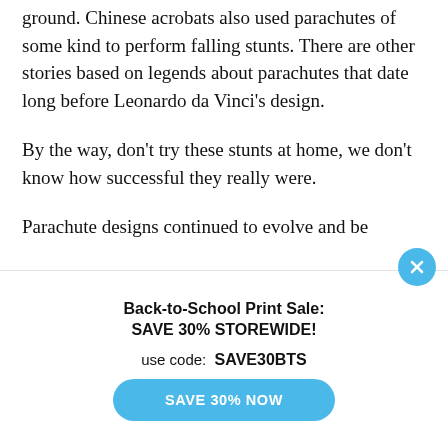ground. Chinese acrobats also used parachutes of some kind to perform falling stunts. There are other stories based on legends about parachutes that date long before Leonardo da Vinci's design.
By the way, don't try these stunts at home, we don't know how successful they really were.
Parachute designs continued to evolve and be…
[Figure (screenshot): A popup advertisement overlay with close button (X in blue circle). The popup reads: 'Back-to-School Print Sale: SAVE 30% STOREWIDE!' and 'use code: SAVE30BTS' with a blue button labeled 'SAVE 30% NOW'.]